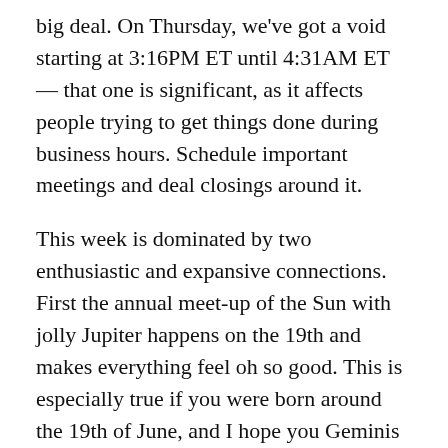big deal. On Thursday, we've got a void starting at 3:16PM ET until 4:31AM ET — that one is significant, as it affects people trying to get things done during business hours. Schedule important meetings and deal closings around it.
This week is dominated by two enthusiastic and expansive connections. First the annual meet-up of the Sun with jolly Jupiter happens on the 19th and makes everything feel oh so good. This is especially true if you were born around the 19th of June, and I hope you Geminis are enjoying the potential comfort, expansion and luck that often accompanies a transit (Jupiter conjunct the natal Sun) that happens every 12 years. The second aspect is a meet-up between Mercury